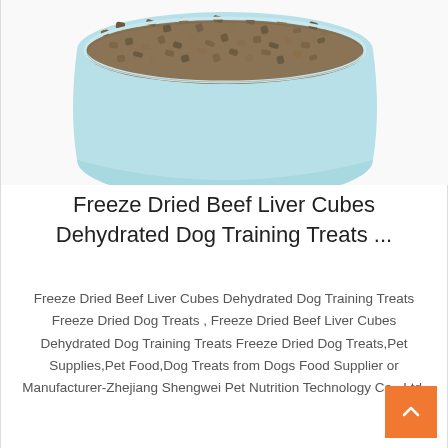[Figure (photo): A light blue bowl filled with freeze-dried beef liver cubes, viewed from slightly above, showing coarse granular brown kibble-like pieces.]
Freeze Dried Beef Liver Cubes Dehydrated Dog Training Treats ...
Freeze Dried Beef Liver Cubes Dehydrated Dog Training Treats Freeze Dried Dog Treats , Freeze Dried Beef Liver Cubes Dehydrated Dog Training Treats Freeze Dried Dog Treats,Pet Supplies,Pet Food,Dog Treats from Dogs Food Supplier or Manufacturer-Zhejiang Shengwei Pet Nutrition Technology Co., Ltd.